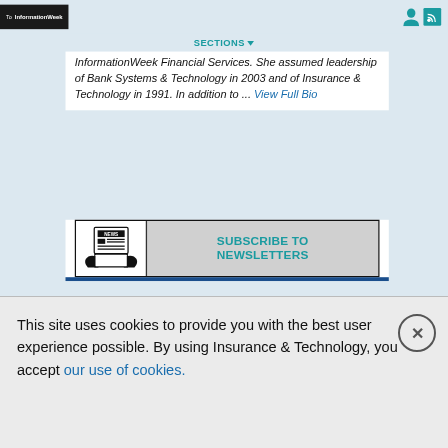To InformationWeek
InformationWeek Financial Services. She assumed leadership of Bank Systems & Technology in 2003 and of Insurance & Technology in 1991. In addition to ... View Full Bio
[Figure (illustration): Subscribe to Newsletters banner with news tablet icon and teal text reading SUBSCRIBE TO NEWSLETTERS]
This site uses cookies to provide you with the best user experience possible. By using Insurance & Technology, you accept our use of cookies.